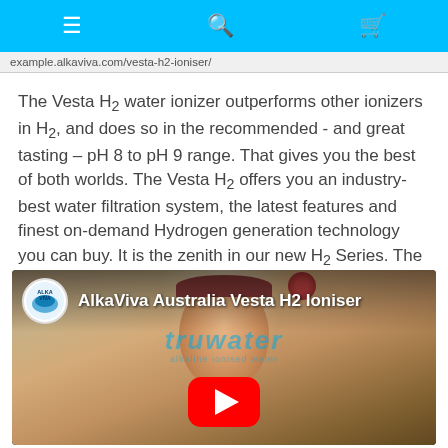Navigation bar with menu, search, and cart icons
example.alkaviva.com/vesta-h2-ioniser/
The Vesta H2 water ionizer outperforms other ionizers in H2, and does so in the recommended - and great tasting – pH 8 to pH 9 range. That gives you the best of both worlds. The Vesta H2 offers you an industry-best water filtration system, the latest features and finest on-demand Hydrogen generation technology you can buy. It is the zenith in our new H2 Series. The result is you get the safest, cleanest, healthiest - and very importantly - best tasting alkaline water.
[Figure (screenshot): YouTube video thumbnail showing AlkaViva Australia Vesta H2 Ioniser video with a young girl and YouTube play button overlay]